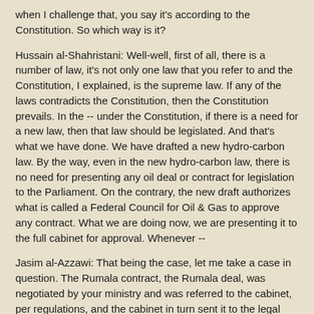when I challenge that, you say it's according to the Constitution. So which way is it?
Hussain al-Shahristani: Well-well, first of all, there is a number of law, it's not only one law that you refer to and the Constitution, I explained, is the supreme law. If any of the laws contradicts the Constitution, then the Constitution prevails. In the -- under the Constitution, if there is a need for a new law, then that law should be legislated. And that's what we have done. We have drafted a new hydro-carbon law. By the way, even in the new hydro-carbon law, there is no need for presenting any oil deal or contract for legislation to the Parliament. On the contrary, the new draft authorizes what is called a Federal Council for Oil & Gas to approve any contract. What we are doing now, we are presenting it to the full cabinet for approval. Whenever --
Jasim al-Azzawi: That being the case, let me take a case in question. The Rumala contract, the Rumala deal, was negotiated by your ministry and was referred to the cabinet, per regulations, and the cabinet in turn sent it to the legal committee, and that legal committee had sixty-five